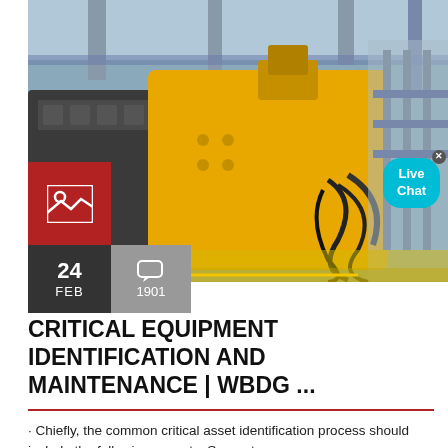[Figure (photo): Industrial factory scene showing a large yellow heavy machinery/crusher equipment with hydraulic cables and pipes in a manufacturing facility, with structural steel framework visible in the background.]
CRITICAL EQUIPMENT IDENTIFICATION AND MAINTENANCE | WBDG ...
· Chiefly, the common critical asset identification process should include the following aspects: Support